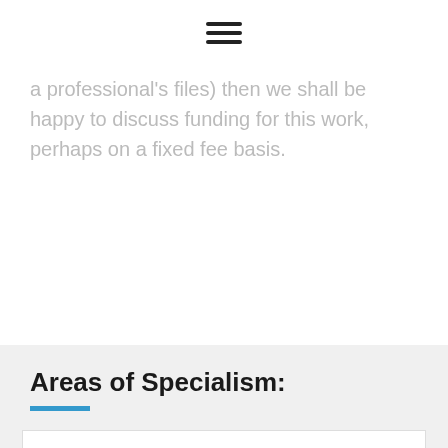☰
a professional's files) then we shall be happy to discuss funding for this work, perhaps on a fixed fee basis.
Areas of Specialism:
Claims against Solicitors and Barristers
Claims against S...